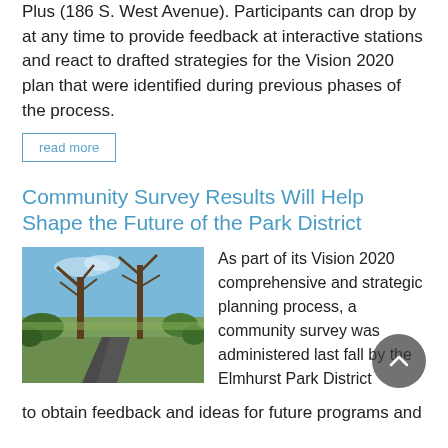Plus (186 S. West Avenue). Participants can drop by at any time to provide feedback at interactive stations and react to drafted strategies for the Vision 2020 plan that were identified during previous phases of the process.
read more
Community Survey Results Will Help Shape the Future of the Park District
[Figure (photo): A paved path through a natural area with bare trees and green shrubs under a blue sky.]
As part of its Vision 2020 comprehensive and strategic planning process, a community survey was administered last fall by the Elmhurst Park District
to obtain feedback and ideas for future programs and